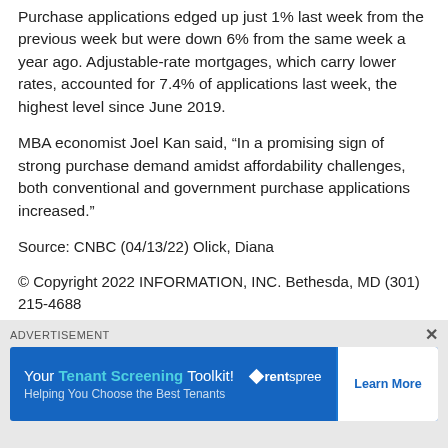Purchase applications edged up just 1% last week from the previous week but were down 6% from the same week a year ago. Adjustable-rate mortgages, which carry lower rates, accounted for 7.4% of applications last week, the highest level since June 2019.
MBA economist Joel Kan said, “In a promising sign of strong purchase demand amidst affordability challenges, both conventional and government purchase applications increased.”
Source: CNBC (04/13/22) Olick, Diana
© Copyright 2022 INFORMATION, INC. Bethesda, MD (301) 215-4688
ADVERTISEMENT